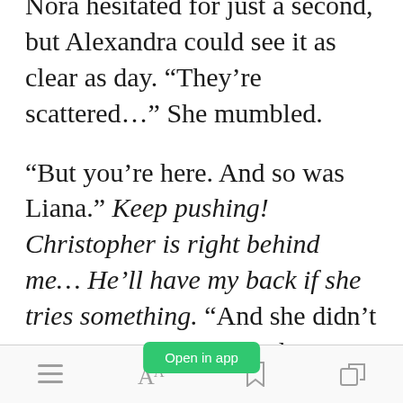Nora hesitated for just a second, but Alexandra could see it as clear as day. “They’re scattered…” She mumbled.
“But you’re here. And so was Liana.” Keep pushing! Christopher is right behind me… He’ll have my back if she tries something. “And she didn’t want me to upload the data either. That’s why she tried to kill me.”
[Figure (screenshot): Green 'Open in app' button overlay]
[Figure (screenshot): App toolbar with menu, font size, bookmark, and share icons]